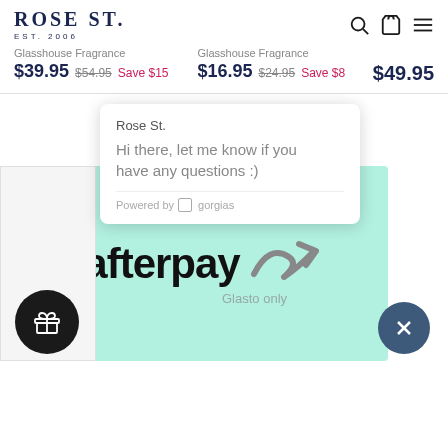ROSE ST. EST. 2006
Glasshouse Fragrance $39.95 $54.95 Save $15
Glasshouse Fragrance $16.95 $24.95 Save $8
$49.95
[Figure (screenshot): Chat popup from Rose St. with message: Hi there, let me know if you have any questions :) Powered by gorgias]
[Figure (logo): Afterpay logo on mint/teal green background]
Glasto only